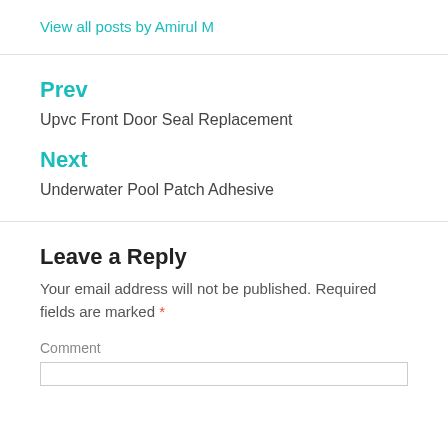View all posts by Amirul M
Prev
Upvc Front Door Seal Replacement
Next
Underwater Pool Patch Adhesive
Leave a Reply
Your email address will not be published. Required fields are marked *
Comment